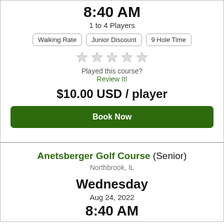8:40 AM
1 to 4 Players
Walking Rate
Junior Discount
9 Hole Time
[Figure (other): Five empty star rating icons]
Played this course?
Review It!
$10.00 USD / player
Book Now
Anetsberger Golf Course (Senior)
Northbrook, IL
Wednesday
Aug 24, 2022
8:40 AM